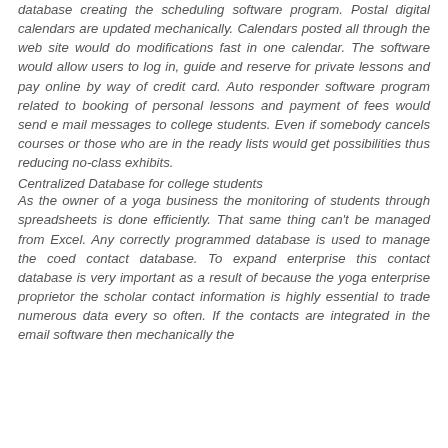database creating the scheduling software program. Postal digital calendars are updated mechanically. Calendars posted all through the web site would do modifications fast in one calendar. The software would allow users to log in, guide and reserve for private lessons and pay online by way of credit card. Auto responder software program related to booking of personal lessons and payment of fees would send e mail messages to college students. Even if somebody cancels courses or those who are in the ready lists would get possibilities thus reducing no-class exhibits.
Centralized Database for college students
As the owner of a yoga business the monitoring of students through spreadsheets is done efficiently. That same thing can't be managed from Excel. Any correctly programmed database is used to manage the coed contact database. To expand enterprise this contact database is very important as a result of because the yoga enterprise proprietor the scholar contact information is highly essential to trade numerous data every so often. If the contacts are integrated in the email software then mechanically the